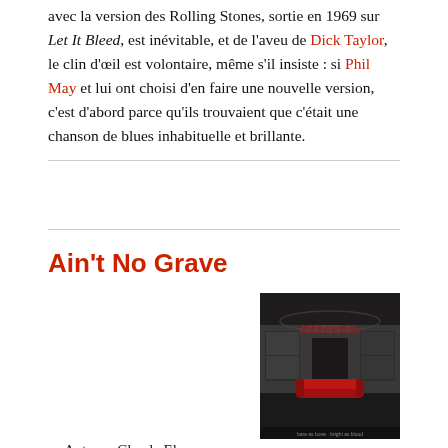avec la version des Rolling Stones, sortie en 1969 sur Let It Bleed, est inévitable, et de l'aveu de Dick Taylor, le clin d'œil est volontaire, même s'il insiste : si Phil May et lui ont choisi d'en faire une nouvelle version, c'est d'abord parce qu'ils trouvaient que c'était une chanson de blues inhabituelle et brillante.
Ain't No Grave
Auteur : Claude Ely
Album : Bare as Bone, Bright as Blood (2020)
Durée : 3 min 58 s
[Figure (photo): Album cover for Bare as Bone, Bright as Blood — dark atmospheric image of an abandoned interior room with a red sofa/couch, broken windows, and a reddish light beam above.]
Ce gospel américain très connu a été